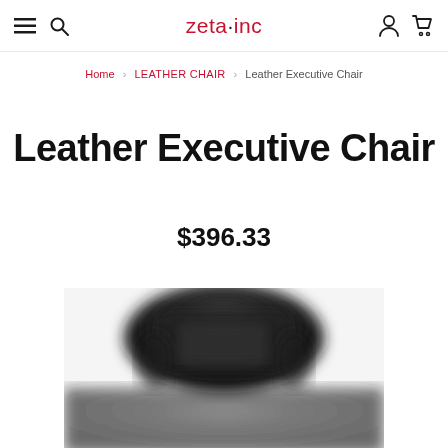zeta·inc — navigation header with menu, search, account, and cart icons
Home > LEATHER CHAIR > Leather Executive Chair
Leather Executive Chair
$396.33
[Figure (photo): Blurred/out-of-focus photo of a black leather executive office chair headrest, dark background, bottom portion of the page]